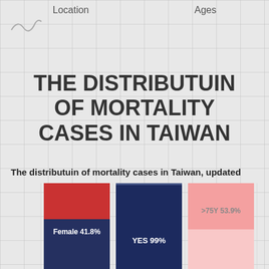Location   Ages
THE DISTRIBUTUIN OF MORTALITY CASES IN TAIWAN
The distributuin of mortality cases in Taiwan, updated
[Figure (stacked-bar-chart): The distributuin of mortality cases in Taiwan]